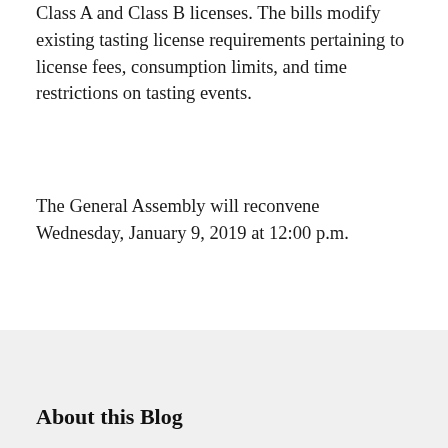Class A and Class B licenses. The bills modify existing tasting license requirements pertaining to license fees, consumption limits, and time restrictions on tasting events.
The General Assembly will reconvene Wednesday, January 9, 2019 at 12:00 p.m.
Tags: 2018 Maryland General Assembly, Maryland alcoholic beverage law, Maryland liquor license, Nancy Hudes, Stuart Kaplow
[Figure (infographic): Row of social sharing icons: print, email, Twitter, Facebook, LinkedIn]
About this Blog